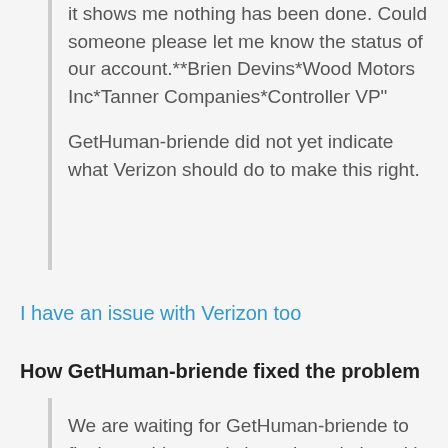it shows me nothing has been done. Could someone please let me know the status of our account.**Brien Devins*Wood Motors Inc*Tanner Companies*Controller VP"
GetHuman-briende did not yet indicate what Verizon should do to make this right.
I have an issue with Verizon too
How GetHuman-briende fixed the problem
We are waiting for GetHuman-briende to fix the problem and share the solution with the rest of us customers.